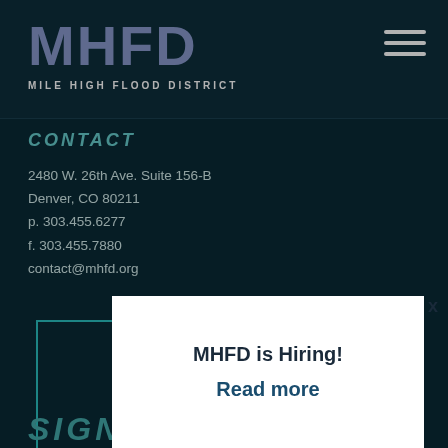MHFD MILE HIGH FLOOD DISTRICT
CONTACT
2480 W. 26th Ave. Suite 156-B
Denver, CO 80211
p. 303.455.6277
f. 303.455.7880
contact@mhfd.org
[Figure (illustration): Tilde/wave decorative symbol in teal/dark green]
Next Board Meeting
MHFD is Hiring!
Read more
SIGN U